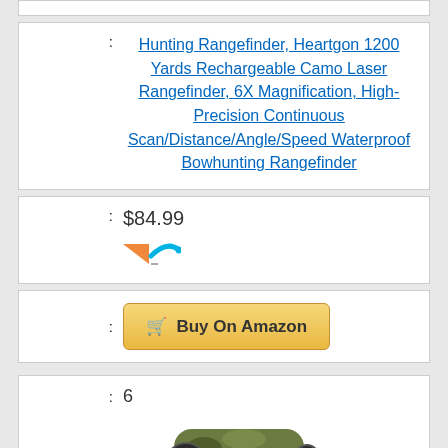: Hunting Rangefinder, Heartgon 1200 Yards Rechargeable Camo Laser Rangefinder, 6X Magnification, High-Precision Continuous Scan/Distance/Angle/Speed Waterproof Bowhunting Rangefinder
: $84.99
[Figure (logo): Alexa/Amazon partial logo icon in orange and blue]
: Buy On Amazon (button)
: 6
[Figure (photo): Camo laser rangefinder product photo]